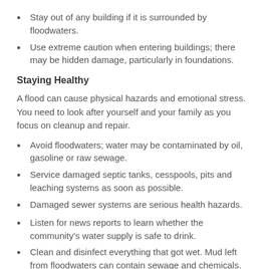Stay out of any building if it is surrounded by floodwaters.
Use extreme caution when entering buildings; there may be hidden damage, particularly in foundations.
Staying Healthy
A flood can cause physical hazards and emotional stress. You need to look after yourself and your family as you focus on cleanup and repair.
Avoid floodwaters; water may be contaminated by oil, gasoline or raw sewage.
Service damaged septic tanks, cesspools, pits and leaching systems as soon as possible.
Damaged sewer systems are serious health hazards.
Listen for news reports to learn whether the community's water supply is safe to drink.
Clean and disinfect everything that got wet. Mud left from floodwaters can contain sewage and chemicals. Do not try to use if they can be contaminated.